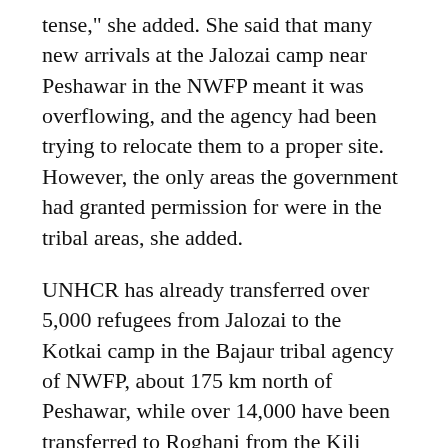tense," she added. She said that many new arrivals at the Jalozai camp near Peshawar in the NWFP meant it was overflowing, and the agency had been trying to relocate them to a proper site. However, the only areas the government had granted permission for were in the tribal areas, she added.
UNHCR has already transferred over 5,000 refugees from Jalozai to the Kotkai camp in the Bajaur tribal agency of NWFP, about 175 km north of Peshawar, while over 14,000 have been transferred to Roghani from the Kili Faizo staging site at Chaman border. Those taken to Koktai were primarily ethnic Pashtuns, the same group which make up the